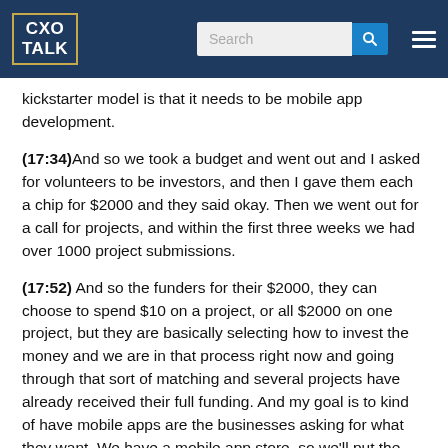CXO TALK [logo] | Search | [menu]
kickstarter model is that it needs to be mobile app development.
(17:34)And so we took a budget and went out and I asked for volunteers to be investors, and then I gave them each a chip for $2000 and they said okay. Then we went out for a call for projects, and within the first three weeks we had over 1000 project submissions.
(17:52) And so the funders for their $2000, they can choose to spend $10 on a project, or all $2000 on one project, but they are basically selecting how to invest the money and we are in that process right now and going through that sort of matching and several projects have already received their full funding. And my goal is to kind of have mobile apps are the businesses asking for what they want. We have a mobile app store, so we'll put the apps into the app store and we will let people rate them and see how many people download them and see kind of how good the ideas